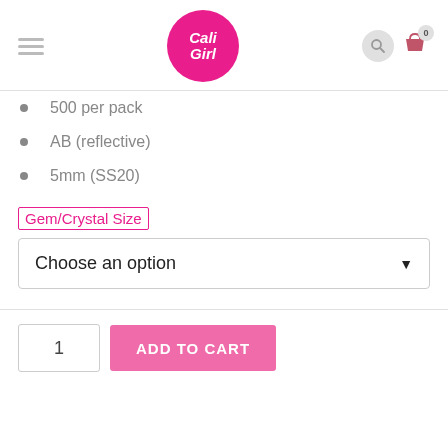[Figure (logo): Cali Girl logo - pink circle with white italic text]
500 per pack
AB (reflective)
5mm (SS20)
Gem/Crystal Size
Choose an option
1
ADD TO CART